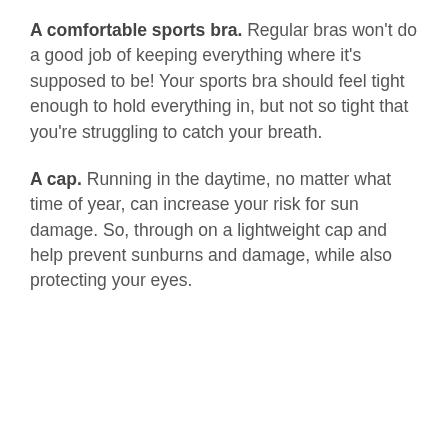A comfortable sports bra. Regular bras won't do a good job of keeping everything where it's supposed to be! Your sports bra should feel tight enough to hold everything in, but not so tight that you're struggling to catch your breath.
A cap. Running in the daytime, no matter what time of year, can increase your risk for sun damage. So, through on a lightweight cap and help prevent sunburns and damage, while also protecting your eyes.